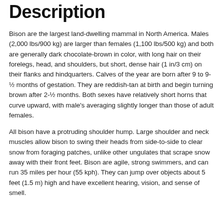Description
Bison are the largest land-dwelling mammal in North America. Males (2,000 lbs/900 kg) are larger than females (1,100 lbs/500 kg) and both are generally dark chocolate-brown in color, with long hair on their forelegs, head, and shoulders, but short, dense hair (1 in/3 cm) on their flanks and hindquarters. Calves of the year are born after 9 to 9-½ months of gestation. They are reddish-tan at birth and begin turning brown after 2-½ months. Both sexes have relatively short horns that curve upward, with male's averaging slightly longer than those of adult females.
All bison have a protruding shoulder hump. Large shoulder and neck muscles allow bison to swing their heads from side-to-side to clear snow from foraging patches, unlike other ungulates that scrape snow away with their front feet. Bison are agile, strong swimmers, and can run 35 miles per hour (55 kph). They can jump over objects about 5 feet (1.5 m) high and have excellent hearing, vision, and sense of smell.